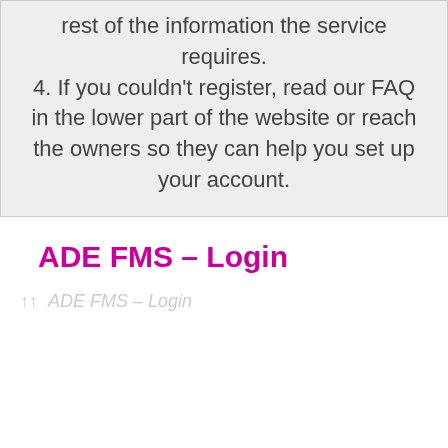4. If you couldn't register, read our FAQ in the lower part of the website or reach the owners so they can help you set up your account.
ADE FMS – Login
↑↑  ADE FMS – Login